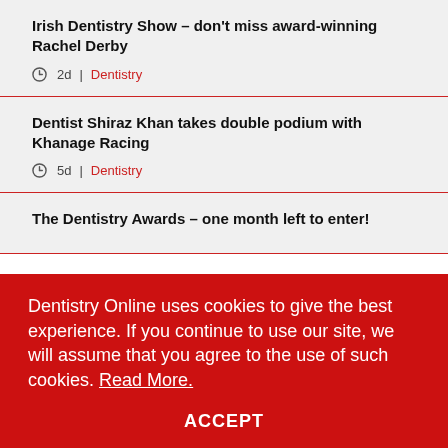Irish Dentistry Show – don't miss award-winning Rachel Derby
2d  |  Dentistry
Dentist Shiraz Khan takes double podium with Khanage Racing
5d  |  Dentistry
The Dentistry Awards – one month left to enter!
Dentistry Online uses cookies to give the best experience. If you continue to use our site, we will assume that you agree to the use of such cookies. Read More.
ACCEPT